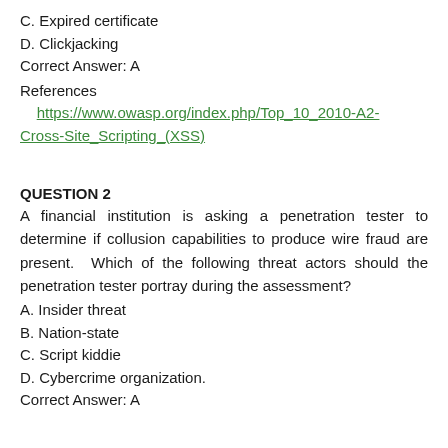C. Expired certificate
D. Clickjacking
Correct Answer: A
References    https://www.owasp.org/index.php/Top_10_2010-A2-Cross-Site_Scripting_(XSS)
QUESTION 2
A financial institution is asking a penetration tester to determine if collusion capabilities to produce wire fraud are present. Which of the following threat actors should the penetration tester portray during the assessment?
A. Insider threat
B. Nation-state
C. Script kiddie
D. Cybercrime organization.
Correct Answer: A